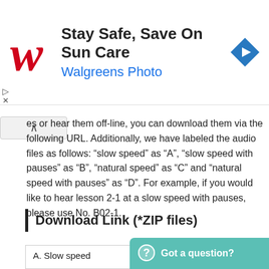[Figure (logo): Walgreens advertisement banner: red cursive W logo, bold text 'Stay Safe, Save On Sun Care', blue text 'Walgreens Photo', blue diamond navigation icon]
es or hear them off-line, you can download them via the following URL. Additionally, we have labeled the audio files as follows: “slow speed” as “A”, “slow speed with pauses” as “B”, “natural speed” as “C” and “natural speed with pauses” as “D”. For example, if you would like to hear lesson 2-1 at a slow speed with pauses, please use No. B02-1.
Download Link (*ZIP files)
|  |  |
| --- | --- |
| A. Slow speed | Pr... 14... |
[Figure (other): Teal chat bubble widget with question mark icon and text 'Got a question?']